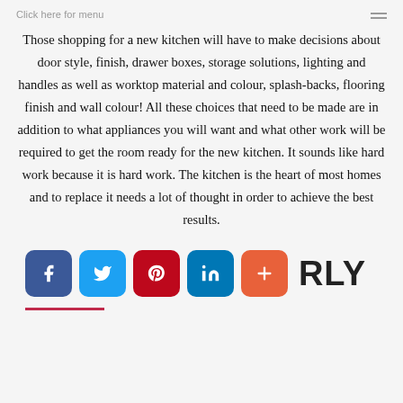Click here for menu
Those shopping for a new kitchen will have to make decisions about door style, finish, drawer boxes, storage solutions, lighting and handles as well as worktop material and colour, splash-backs, flooring finish and wall colour! All these choices that need to be made are in addition to what appliances you will want and what other work will be required to get the room ready for the new kitchen. It sounds like hard work because it is hard work. The kitchen is the heart of most homes and to replace it needs a lot of thought in order to achieve the best results.
[Figure (infographic): Social media share icons: Facebook (blue), Twitter (blue), Pinterest (red), LinkedIn (dark blue), Google+ (orange-red), followed by the text 'ARLY' in bold black]
[Figure (other): Red horizontal line decoration]